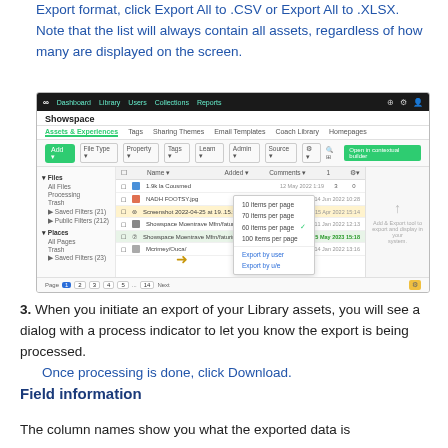Export format, click Export All to .CSV or Export All to .XLSX. Note that the list will always contain all assets, regardless of how many are displayed on the screen.
[Figure (screenshot): Screenshot of Showspace Library interface showing file list with dropdown menu for items per page (10, 70, 60, 100 items per page options) and an arrow pointing to export/pagination settings gear icon.]
3. When you initiate an export of your Library assets, you will see a dialog with a process indicator to let you know the export is being processed. Once processing is done, click Download.
Field information
The column names show you what the exported data is